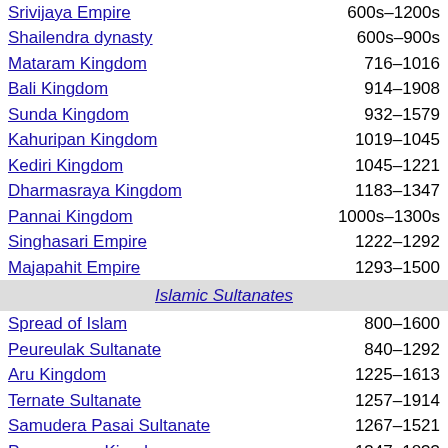| Name | Dates |
| --- | --- |
| Srivijaya Empire | 600s–1200s |
| Shailendra dynasty | 600s–900s |
| Mataram Kingdom | 716–1016 |
| Bali Kingdom | 914–1908 |
| Sunda Kingdom | 932–1579 |
| Kahuripan Kingdom | 1019–1045 |
| Kediri Kingdom | 1045–1221 |
| Dharmasraya Kingdom | 1183–1347 |
| Pannai Kingdom | 1000s–1300s |
| Singhasari Empire | 1222–1292 |
| Majapahit Empire | 1293–1500 |
| Islamic Sultanates |  |
| Spread of Islam | 800–1600 |
| Peureulak Sultanate | 840–1292 |
| Aru Kingdom | 1225–1613 |
| Ternate Sultanate | 1257–1914 |
| Samudera Pasai Sultanate | 1267–1521 |
| Pagaruyung Kingdom | 1347–1833 |
| Brunei Sultanate | 1368–1888 |
| Malacca Sultanate | 1400–1511 |
| Sulu Sultanate | 1405–1851 |
| Cirebon Sultanate | 1445–1677 |
| Demak Sultanate | 1475–1554 |